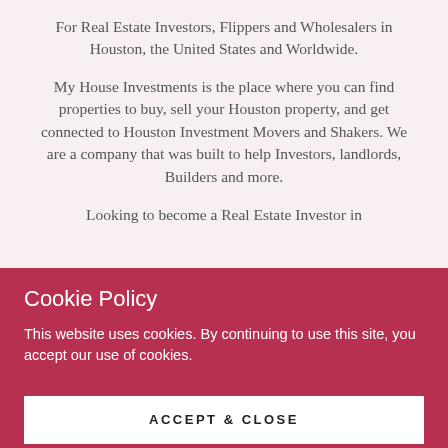For Real Estate Investors, Flippers and Wholesalers in Houston, the United States and Worldwide. My House Investments is the place where you can find properties to buy, sell your Houston property, and get connected to Houston Investment Movers and Shakers. We are a company that was built to help Investors, landlords, Builders and more. Looking to become a Real Estate Investor in
Cookie Policy
This website uses cookies. By continuing to use this site, you accept our use of cookies.
ACCEPT & CLOSE